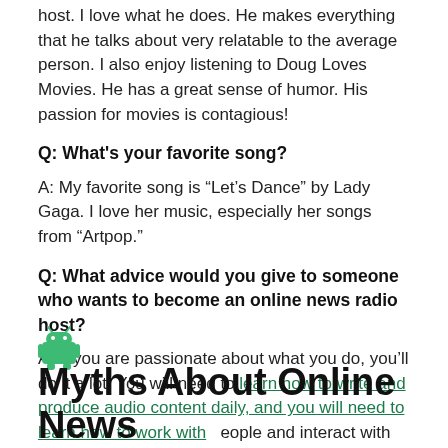host. I love what he does. He makes everything that he talks about very relatable to the average person. I also enjoy listening to Doug Loves Movies. He has a great sense of humor. His passion for movies is contagious!
Q: What's your favorite song?
A: My favorite song is “Let’s Dance” by Lady Gaga. I love her music, especially her songs from “Artpop.”
Q: What advice would you give to someone who wants to become an online news radio host?
A: If you are passionate about what you do, you’ll do it a lot. You will need to learn how to write and produce audio content daily, and you will need to learn how to work with people and interact with them daily.
[Figure (illustration): Android robot icon (green)]
Myths About Online News